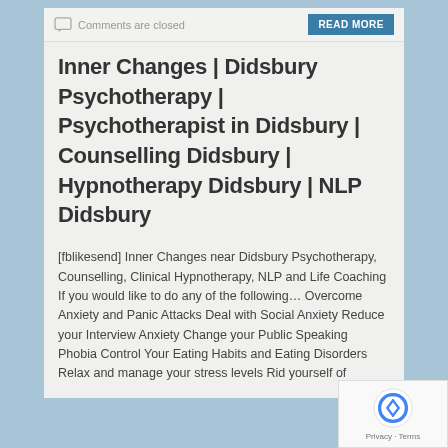Comments are closed
Inner Changes | Didsbury Psychotherapy | Psychotherapist in Didsbury | Counselling Didsbury | Hypnotherapy Didsbury | NLP Didsbury
[fblikesend] Inner Changes near Didsbury Psychotherapy, Counselling, Clinical Hypnotherapy, NLP and Life Coaching If you would like to do any of the following… Overcome Anxiety and Panic Attacks Deal with Social Anxiety Reduce your Interview Anxiety Change your Public Speaking Phobia Control Your Eating Habits and Eating Disorders Relax and manage your stress levels Rid yourself of